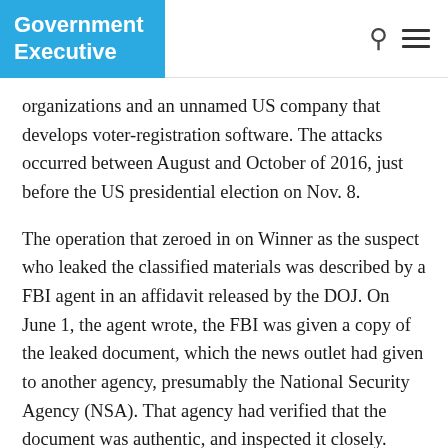Government Executive
organizations and an unnamed US company that develops voter-registration software. The attacks occurred between August and October of 2016, just before the US presidential election on Nov. 8.
The operation that zeroed in on Winner as the suspect who leaked the classified materials was described by a FBI agent in an affidavit released by the DOJ. On June 1, the agent wrote, the FBI was given a copy of the leaked document, which the news outlet had given to another agency, presumably the National Security Agency (NSA). That agency had verified that the document was authentic, and inspected it closely.
The scanned copy of the document “appeared to be folded